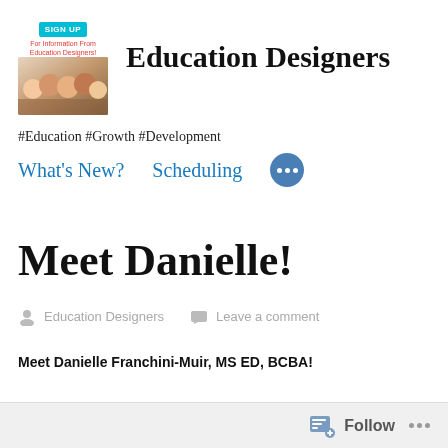[Figure (logo): Education Designers logo with signup button and group photo of children]
Education Designers
#Education #Growth #Development
What's New?    Scheduling    •••
Meet Danielle!
Education Designers    Leave a comment
Meet Danielle Franchini-Muir, MS ED, BCBA!
Follow  •••